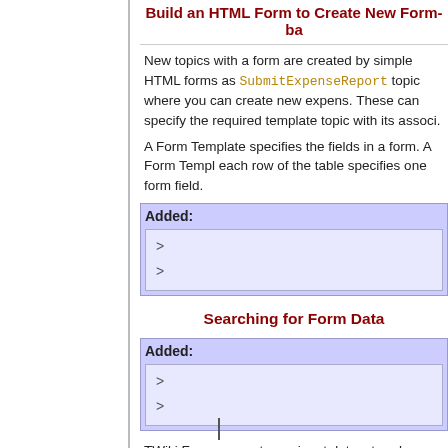Build an HTML Form to Create New Form-ba
New topics with a form are created by simple HTML forms as SubmitExpenseReport topic where you can create new expens. These can specify the required template topic with its associ.
A Form Template specifies the fields in a form. A Form Templ each row of the table specifies one form field.
Added:
Searching for Form Data
Added:
TWiki Forms accept user-input data, stored as TWikiMetaDa about changes, attachments, etc. To find, format and display FORMFIELD, SEARCH and METASEARCH variables in TWikiVariables